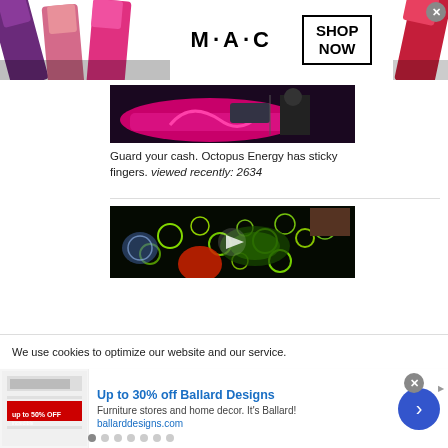[Figure (screenshot): MAC Cosmetics advertisement banner with lipsticks on left and right, MAC logo in center, and 'SHOP NOW' box]
[Figure (photo): Pink and dark car with decorative graphics, person getting in]
Guard your cash. Octopus Energy has sticky fingers. viewed recently: 2634
[Figure (screenshot): Dark microscopy image with glowing green circular cells/organisms and red element, video play button visible]
We use cookies to optimize our website and our service.
[Figure (screenshot): Ballard Designs advertisement: 'Up to 30% off Ballard Designs', Furniture stores and home decor. It's Ballard!, ballarddesigns.com]